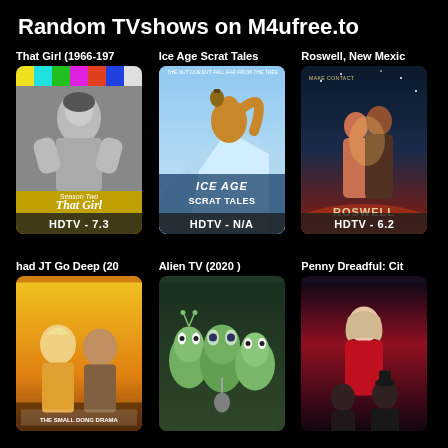Random TVshows on M4ufree.to
[Figure (screenshot): That Girl (1966-197 TV show poster - Season Two, black and white photo of woman, colorful stripes at top. Rating: HDTV - 7.3]
[Figure (screenshot): Ice Age Scrat Tales animated show poster with squirrel characters. Rating: HDTV - N/A]
[Figure (screenshot): Roswell, New Mexico TV show poster with two people in romantic pose. Rating: HDTV - 6.2]
[Figure (screenshot): had JT Go Deep (20 - TV show poster with two men and crowd. Rating not shown]
[Figure (screenshot): Alien TV (2020) animated show poster with alien characters. Rating not shown]
[Figure (screenshot): Penny Dreadful: Cit - TV show poster with woman in red. Rating not shown]